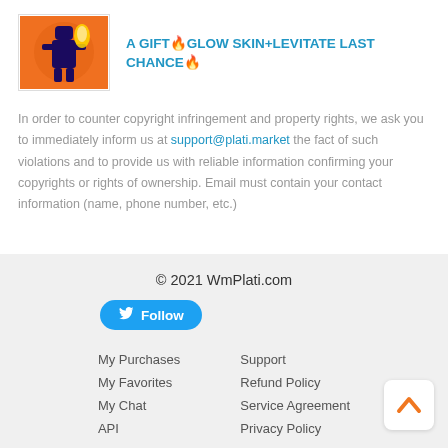[Figure (illustration): Product thumbnail showing a Fortnite character with orange background]
A GIFT🔥GLOW SKIN+LEVITATE LAST CHANCE🔥
In order to counter copyright infringement and property rights, we ask you to immediately inform us at support@plati.market the fact of such violations and to provide us with reliable information confirming your copyrights or rights of ownership. Email must contain your contact information (name, phone number, etc.)
© 2021 WmPlati.com
[Figure (other): Twitter Follow button]
My Purchases
My Favorites
My Chat
API
Support
Refund Policy
Service Agreement
Privacy Policy